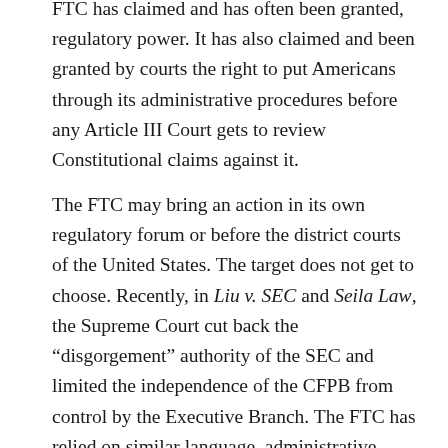FTC has claimed and has often been granted, regulatory power. It has also claimed and been granted by courts the right to put Americans through its administrative procedures before any Article III Court gets to review Constitutional claims against it.
The FTC may bring an action in its own regulatory forum or before the district courts of the United States. The target does not get to choose. Recently, in Liu v. SEC and Seila Law, the Supreme Court cut back the “disgorgement” authority of the SEC and limited the independence of the CFPB from control by the Executive Branch. The FTC has relied on similar language, administrative structure, and litigation strategy in its interpretation of the FTC Act. Courts have begun to push back on the FTC’s regulatory overreach.